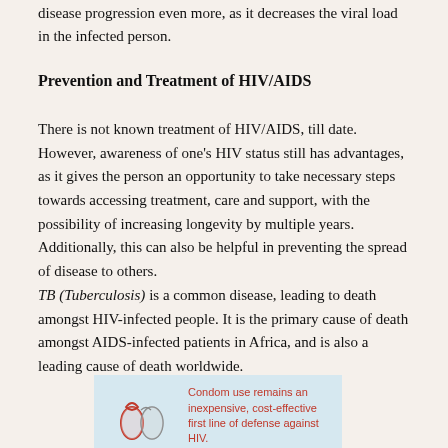disease progression even more, as it decreases the viral load in the infected person.
Prevention and Treatment of HIV/AIDS
There is not known treatment of HIV/AIDS, till date. However, awareness of one's HIV status still has advantages, as it gives the person an opportunity to take necessary steps towards accessing treatment, care and support, with the possibility of increasing longevity by multiple years. Additionally, this can also be helpful in preventing the spread of disease to others. TB (Tuberculosis) is a common disease, leading to death amongst HIV-infected people. It is the primary cause of death amongst AIDS-infected patients in Africa, and is also a leading cause of death worldwide.
[Figure (infographic): Infographic with condom icons and text: 'Condom use remains an inexpensive, cost-effective first line of defense against HIV.' on a light blue background.]